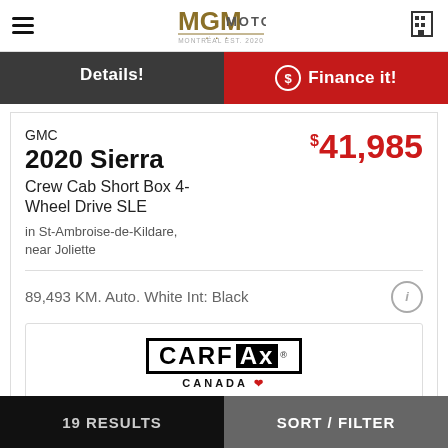MGM MOTORS
Details!
$ Finance it!
GMC
2020 Sierra
Crew Cab Short Box 4-Wheel Drive SLE
in St-Ambroise-de-Kildare, near Joliette
$41,985
89,493 KM. Auto. White Int: Black
[Figure (logo): CARFAX Canada logo with black bordered text and red maple leaf]
19 RESULTS    SORT / FILTER